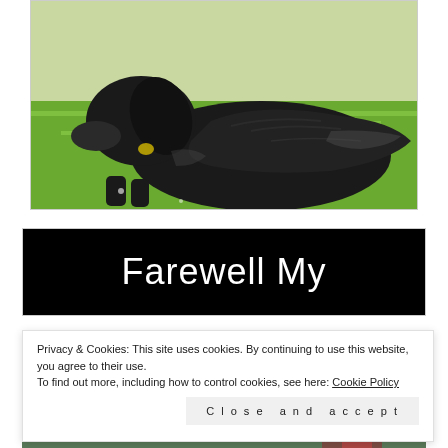[Figure (photo): A black long-haired dog lying on green grass, viewed from the side, wearing a collar]
[Figure (photo): Black background with white text reading 'Farewell My']
Privacy & Cookies: This site uses cookies. By continuing to use this website, you agree to their use.
To find out more, including how to control cookies, see here: Cookie Policy
[Figure (photo): Partial image visible at the bottom of the page]